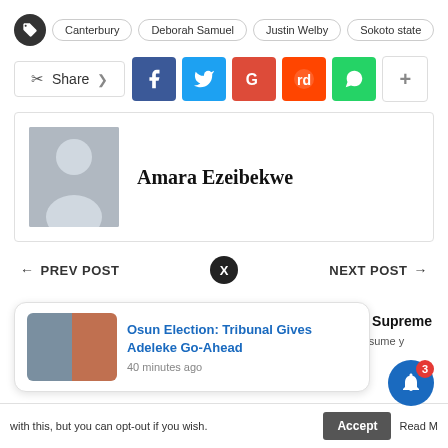Canterbury | Deborah Samuel | Justin Welby | Sokoto state
[Figure (infographic): Share buttons row: Share label, Facebook, Twitter, Google+, Reddit, WhatsApp, More (+)]
[Figure (photo): Author card with placeholder avatar and name Amara Ezeibekwe]
Amara Ezeibekwe
← PREV POST   X   NEXT POST →
[Figure (screenshot): Notification popup: Osun Election: Tribunal Gives Adeleke Go-Ahead, 40 minutes ago]
Osun Election: Tribunal Gives Adeleke Go-Ahead
40 minutes ago
Act: Supreme
e'll assume y
with this, but you can opt-out if you wish.   Accept   Read M...